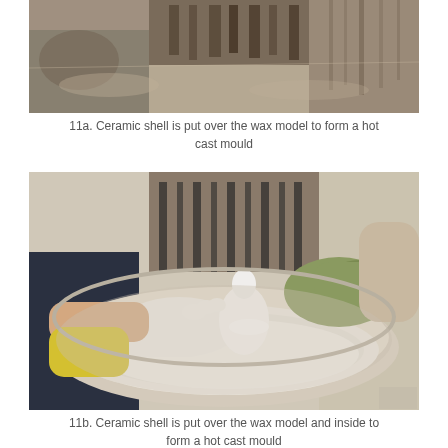[Figure (photo): Hands applying ceramic shell over a wax model to form a hot cast mould, viewed from above showing sandy/dusty material and textured surfaces.]
11a. Ceramic shell is put over the wax model to form a hot cast mould
[Figure (photo): Two gloved hands (one with white latex glove, one with yellow glove) dipping a wax model figure into a large round vat filled with white ceramic slurry/slip. The figure appears to be a small animal or sculpture. Background shows a person in a striped apron.]
11b. Ceramic shell is put over the wax model and inside to form a hot cast mould